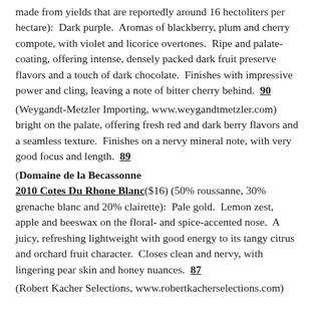made from yields that are reportedly around 16 hectoliters per hectare):  Dark purple.  Aromas of blackberry, plum and cherry compote, with violet and licorice overtones.  Ripe and palate-coating, offering intense, densely packed dark fruit preserve flavors and a touch of dark chocolate.  Finishes with impressive power and cling, leaving a note of bitter cherry behind.  90
(Weygandt-Metzler Importing, www.weygandtmetzler.com) bright on the palate, offering fresh red and dark berry flavors and a seamless texture.  Finishes on a nervy mineral note, with very good focus and length.  89
(Domaine de la Becassonne
2010 Cotes Du Rhone Blanc($16) (50% roussanne, 30% grenache blanc and 20% clairette):  Pale gold.  Lemon zest, apple and beeswax on the floral- and spice-accented nose.  A juicy, refreshing lightweight with good energy to its tangy citrus and orchard fruit character.  Closes clean and nervy, with lingering pear skin and honey nuances.  87
(Robert Kacher Selections, www.robertkacherselections.com)